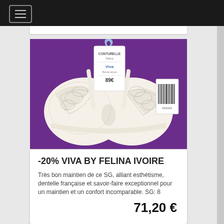[Figure (screenshot): Navigation bar with hamburger menu icon on dark background]
[Figure (photo): White bra with lace detailing photographed on a purple fabric background. Tag visible showing CONTURELLE Felina brand, model 'Viva', price 89€.]
-20% VIVA BY FELINA IVOIRE
Très bon maintien de ce SG, alliant esthétisme, dentelle française et savoir-faire exceptionnel pour un maintien et un confort incomparable. SG: 8
71,20 €